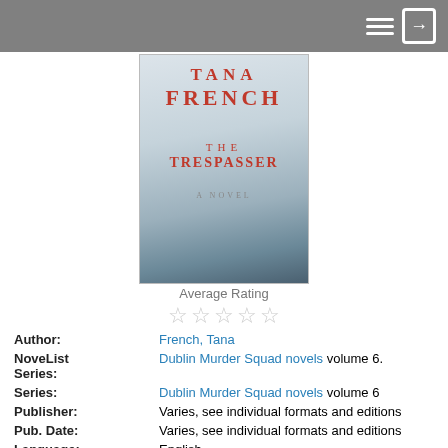[Figure (photo): Book cover of 'The Trespasser' by Tana French - A Novel]
Average Rating
[Figure (other): 5 empty star rating icons]
| Author: | French, Tana |
| NoveList Series: | Dublin Murder Squad novels volume 6. |
| Series: | Dublin Murder Squad novels volume 6 |
| Publisher: | Varies, see individual formats and editions |
| Pub. Date: | Varies, see individual formats and editions |
| Language: | English |
Choose a Format
Book — On Shelf
2nd Floor- Adult Books